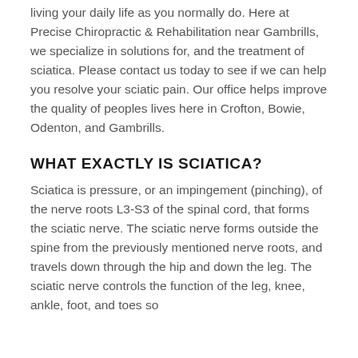living your daily life as you normally do. Here at Precise Chiropractic & Rehabilitation near Gambrills, we specialize in solutions for, and the treatment of sciatica. Please contact us today to see if we can help you resolve your sciatic pain. Our office helps improve the quality of peoples lives here in Crofton, Bowie, Odenton, and Gambrills.
WHAT EXACTLY IS SCIATICA?
Sciatica is pressure, or an impingement (pinching), of the nerve roots L3-S3 of the spinal cord, that forms the sciatic nerve. The sciatic nerve forms outside the spine from the previously mentioned nerve roots, and travels down through the hip and down the leg. The sciatic nerve controls the function of the leg, knee, ankle, foot, and toes so